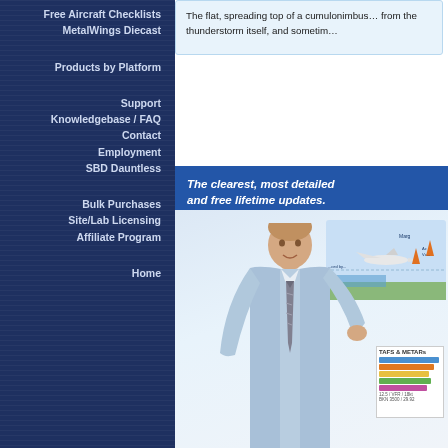Free Aircraft Checklists
MetalWings Diecast
Products by Platform
Support
Knowledgebase / FAQ
Contact
Employment
SBD Dauntless
Bulk Purchases
Site/Lab Licensing
Affiliate Program
Home
The flat, spreading top of a cumulonimbus … from the thunderstorm itself, and sometim…
The clearest, most detailed … and free lifetime updates.
[Figure (infographic): Man in blue shirt and tie holding aviation weather chart/METAR printout, with aviation diagram showing airplane and atmospheric layers in background]